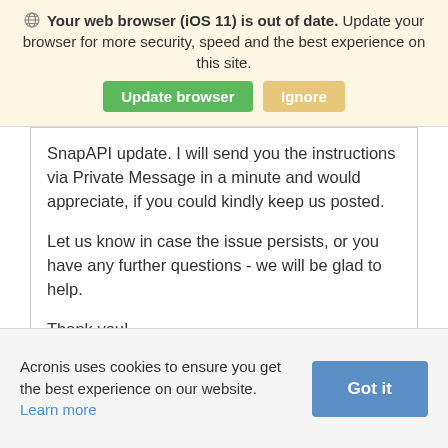Your web browser (iOS 11) is out of date. Update your browser for more security, speed and the best experience on this site.
Update browser | Ignore
SnapAPI update. I will send you the instructions via Private Message in a minute and would appreciate, if you could kindly keep us posted.

Let us know in case the issue persists, or you have any further questions - we will be glad to help.

Thank you!
Acronis uses cookies to ensure you get the best experience on our website. Learn more | Got it